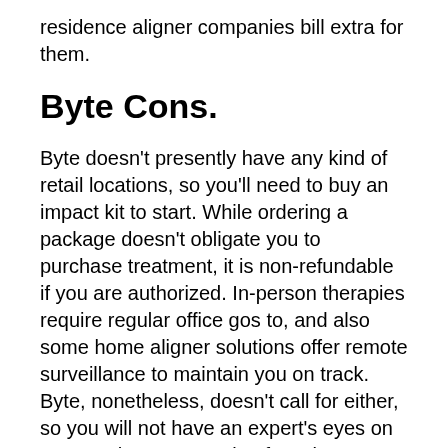residence aligner companies bill extra for them.
Byte Cons.
Byte doesn't presently have any kind of retail locations, so you'll need to buy an impact kit to start. While ordering a package doesn't obligate you to purchase treatment, it is non-refundable if you are authorized. In-person therapies require regular office gos to, and also some home aligner solutions offer remote surveillance to maintain you on track. Byte, nonetheless, doesn't call for either, so you will not have an expert's eyes on your teeth every couple of weeks.
FREQUENTLY ASKED